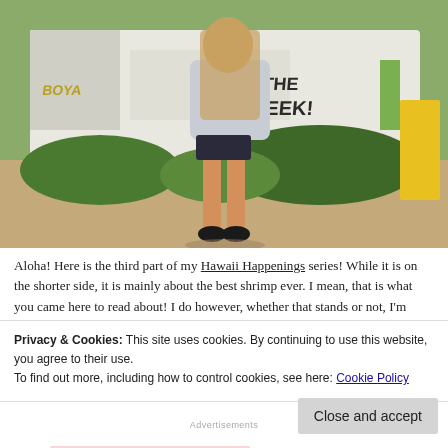[Figure (photo): A young blonde woman standing in front of a truck with graffiti text including 'THE GREEK', wearing an off-shoulder top and denim shorts with sandals, outdoor sunny setting with green bushes and gravel ground.]
Aloha! Here is the third part of my Hawaii Happenings series! While it is on the shorter side, it is mainly about the best shrimp ever. I mean, that is what you came here to read about! I do however, whether that stands or not, I'm going to share a few of my favorite fun facts about Oahu, Hawaii.
Privacy & Cookies: This site uses cookies. By continuing to use this website, you agree to their use.
To find out more, including how to control cookies, see here: Cookie Policy
Close and accept